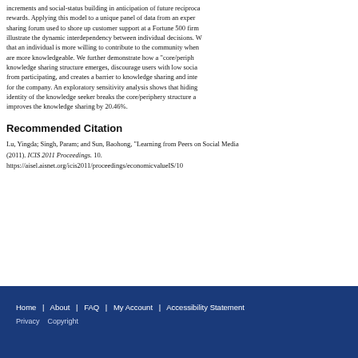increments and social-status building in anticipation of future reciprocal rewards. Applying this model to a unique panel of data from an expert knowledge sharing forum used to shore up customer support at a Fortune 500 firm, we illustrate the dynamic interdependency between individual decisions. We find that an individual is more willing to contribute to the community when others are more knowledgeable. We further demonstrate how a "core/periphery" knowledge sharing structure emerges, discourages users with low social status from participating, and creates a barrier to knowledge sharing and integration for the company. An exploratory sensitivity analysis shows that hiding the identity of the knowledge seeker breaks the core/periphery structure and improves the knowledge sharing by 20.46%.
Recommended Citation
Lu, Yingda; Singh, Param; and Sun, Baohong, "Learning from Peers on Social Media" (2011). ICIS 2011 Proceedings. 10. https://aisel.aisnet.org/icis2011/proceedings/economicvalueIS/10
Home | About | FAQ | My Account | Accessibility Statement  Privacy  Copyright